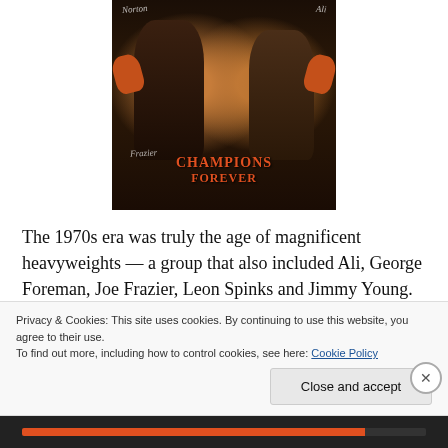[Figure (photo): Autographed 'Champions Forever' boxing photo showing two boxers in tuxedos holding orange boxing gloves, with signatures overlaid]
The 1970s era was truly the age of magnificent heavyweights — a group that also included Ali, George Foreman, Joe Frazier, Leon Spinks and Jimmy Young. “They called us handsome. Muhammad they called pretty.
Privacy & Cookies: This site uses cookies. By continuing to use this website, you agree to their use.
To find out more, including how to control cookies, see here: Cookie Policy
Close and accept